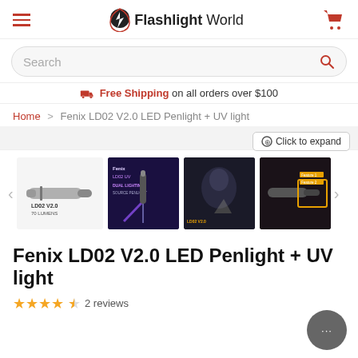FlashlightWorld
Search
🚚 Free Shipping on all orders over $100
Home > Fenix LD02 V2.0 LED Penlight + UV light
[Figure (screenshot): Product image gallery showing Fenix LD02 V2.0 LED Penlight with thumbnails. First thumbnail shows the pen light with text 'LD02 V2.0 70 LUMENS'. Other thumbnails show marketing images with dual lighting and product features.]
Fenix LD02 V2.0 LED Penlight + UV light
★★★★☆ 2 reviews